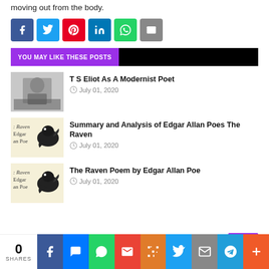moving out from the body.
[Figure (infographic): Social share buttons: Facebook, Twitter, Pinterest, LinkedIn, WhatsApp, Email]
YOU MAY LIKE THESE POSTS
[Figure (photo): Black and white photo of T S Eliot]
T S Eliot As A Modernist Poet
July 01, 2020
[Figure (illustration): Book cover image: The Raven by Edgar Allan Poe with raven illustration]
Summary and Analysis of Edgar Allan Poes The Raven
July 01, 2020
[Figure (illustration): Book cover image: The Raven by Edgar Allan Poe with raven illustration]
The Raven Poem by Edgar Allan Poe
July 01, 2020
0 SHARES | Share buttons: Facebook, Messenger, WhatsApp, Gmail, QR, Twitter, Email, Telegram, More